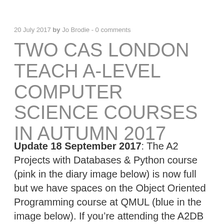20 July 2017 by Jo Brodie - 0 comments
TWO CAS LONDON TEACH A-LEVEL COMPUTER SCIENCE COURSES IN AUTUMN 2017
Update 18 September 2017: The A2 Projects with Databases & Python course (pink in the diary image below) is now full but we have spaces on the Object Oriented Programming course at QMUL (blue in the image below). If you're attending the A2DB course you'll be able to attend the OOP one as well.